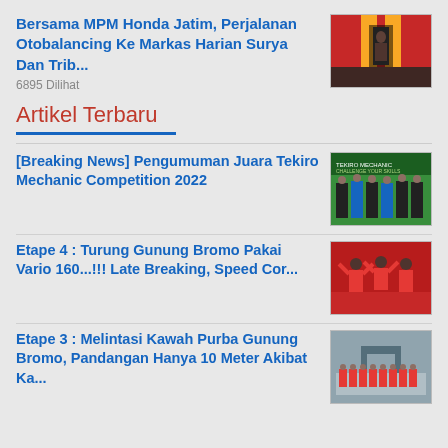Bersama MPM Honda Jatim, Perjalanan Otobalancing Ke Markas Harian Surya Dan Trib...
6895 Dilihat
[Figure (photo): A person standing in front of a building entrance with red walls and yellow pillars]
Artikel Terbaru
[Breaking News] Pengumuman Juara Tekiro Mechanic Competition 2022
[Figure (photo): Group of people holding awards at Tekiro Mechanic Competition event with banner in background]
Etape 4 : Turung Gunung Bromo Pakai Vario 160...!!! Late Breaking, Speed Cor...
[Figure (photo): Group of motorcycle riders in red gear with helmets, arms raised in celebration]
Etape 3 : Melintasi Kawah Purba Gunung Bromo, Pandangan Hanya 10 Meter Akibat Ka...
[Figure (photo): Group of people in red jackets standing in front of an arch structure in foggy conditions]